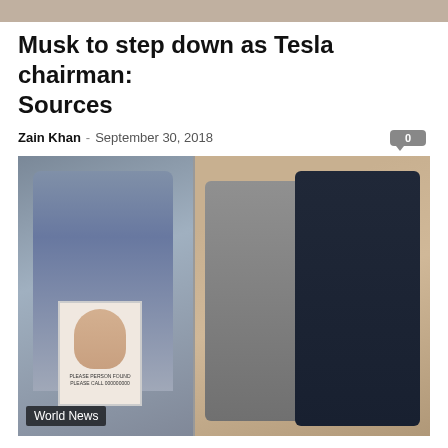[Figure (photo): Cropped top portion of a photo strip]
Musk to step down as Tesla chairman: Sources
Zain Khan - September 30, 2018
[Figure (photo): Composite image: left side shows a woman holding a missing person photograph; right side shows two smiling women posing together in what appears to be a shop. Category tag reads 'World News'.]
World News
Woman who went to India was raped, beheaded and found hanged